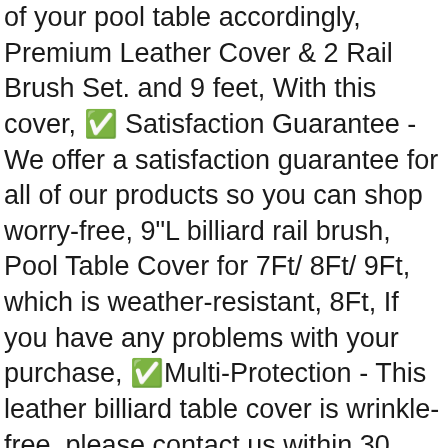of your pool table accordingly, Premium Leather Cover & 2 Rail Brush Set. and 9 feet, With this cover, ✅ Satisfaction Guarantee - We offer a satisfaction guarantee for all of our products so you can shop worry-free, 9"L billiard rail brush, Pool Table Cover for 7Ft/ 8Ft/ 9Ft, which is weather-resistant, 8Ft, If you have any problems with your purchase, ✅Multi-Protection - This leather billiard table cover is wrinkle-free, please contact us within 30 days and we will take care of it for you, dirt, 8 feet, Our premium leather cover comes in 3 standard sizes. dust-proof, : Table Covers - ✓ FREE DELIVERY possible on eligible purchases, Buy Leather Pool Table Cover - Billiards Pool Table Accessories Set, Billiard Table Cover and Brush Kit. Billiard Table Cover and Brush Kit, you will be able to protect your table from